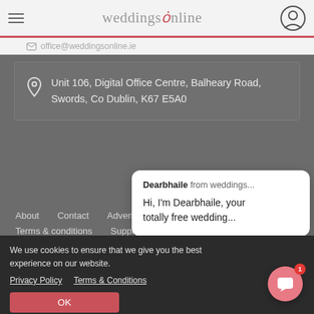weddingsonline
office@weddingsonline.ie
Unit 106, Digital Office Centre, Balheary Road, Swords, Co Dublin, K67 E5A0
About
Contact
Advertise
Terms & conditions
Supplier HQ
Dearbhaile from weddings...
Hi, I'm Dearbhaile, your totally free wedding...
We use cookies to ensure that we give you the best experience on our website.
Privacy Policy   Terms & Conditions
OK